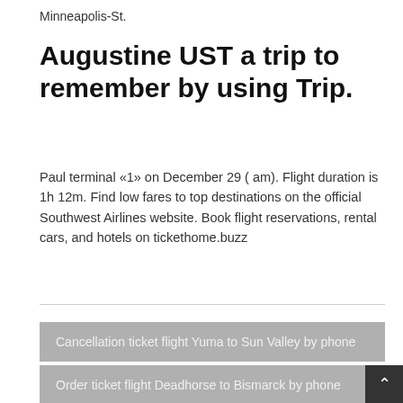Minneapolis-St.
Augustine UST a trip to remember by using Trip.
Paul terminal «1» on December 29 ( am). Flight duration is 1h 12m. Find low fares to top destinations on the official Southwest Airlines website. Book flight reservations, rental cars, and hotels on tickethome.buzz
Cancellation ticket flight Yuma to Sun Valley by phone
Order ticket flight Deadhorse to Bismarck by phone
Reservation flight ticket New York to Hagerstown by call